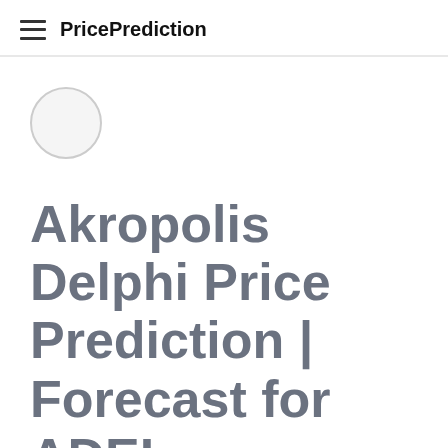PricePrediction
[Figure (illustration): Circular placeholder logo image, light gray circle outline]
Akropolis Delphi Price Prediction | Forecast for ADEL